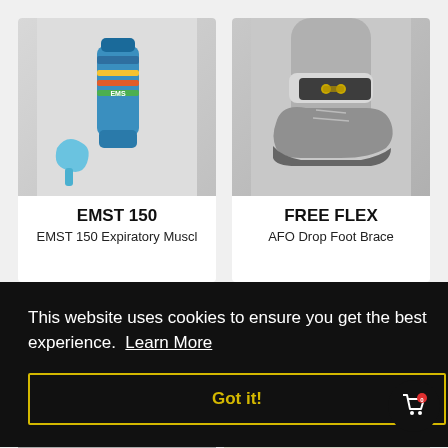[Figure (photo): EMST 150 expiratory muscle training device - blue medical device with colorful bands and blue accessory pieces]
EMST 150
EMST 150 Expiratory Muscl
[Figure (photo): FREE FLEX AFO Drop Foot Brace shown on a person's ankle wearing a gray athletic shoe]
FREE FLEX
AFO Drop Foot Brace
This website uses cookies to ensure you get the best experience.  Learn More
Got it!